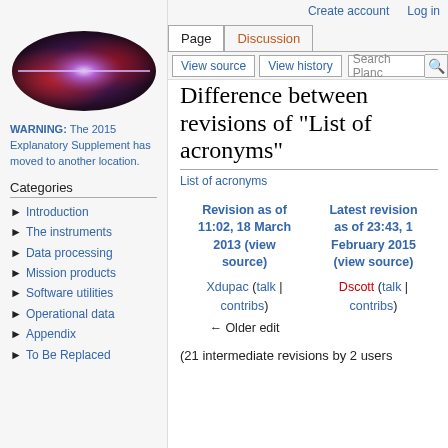Create account   Log in
[Figure (photo): Oval-shaped galaxy or astronomical image with red, blue, and purple colors on a dark background — site logo]
WARNING: The 2015 Explanatory Supplement has moved to another location.
Categories
► Introduction
► The instruments
► Data processing
► Mission products
► Software utilities
► Operational data
► Appendix
► To Be Replaced
Difference between revisions of "List of acronyms"
List of acronyms
| Revision as of 11:02, 18 March 2013 (view source) | Latest revision as of 23:43, 1 February 2015 (view source) |
| --- | --- |
| Xdupac (talk | contribs) | Dscott (talk | contribs) |
| ← Older edit |  |
(21 intermediate revisions by 2 users